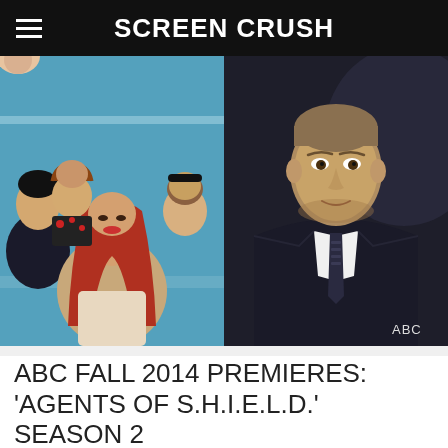Screen Crush
[Figure (photo): Left photo: Group of TV show cast members sitting together, colorful retro-style setting with woman with red hair in foreground and man in suit at left, two women behind.]
[Figure (photo): Right photo: Man in dark suit and patterned tie, ABC watermark in bottom right corner, dark moody background.]
ABC FALL 2014 PREMIERES: 'AGENTS OF S.H.I.E.L.D.' SEASON 2 DEBUT DATE AND MORE